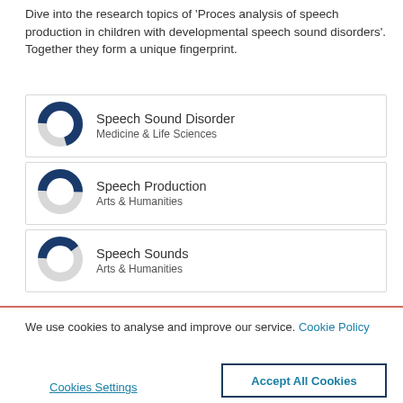Dive into the research topics of 'Proces analysis of speech production in children with developmental speech sound disorders'. Together they form a unique fingerprint.
[Figure (donut-chart): Donut chart for Speech Sound Disorder, Medicine & Life Sciences, approximately 70% filled in dark navy blue]
[Figure (donut-chart): Donut chart for Speech Production, Arts & Humanities, approximately 50% filled in dark navy blue]
[Figure (donut-chart): Donut chart for Speech Sounds, Arts & Humanities, approximately 40% filled in dark navy blue]
We use cookies to analyse and improve our service. Cookie Policy
Cookies Settings
Accept All Cookies